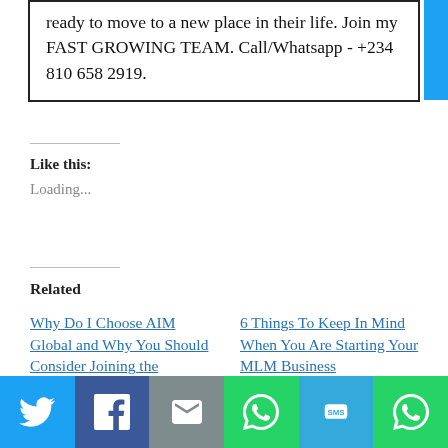ready to move to a new place in their life. Join my FAST GROWING TEAM. Call/Whatsapp - +234 810 658 2919.
Like this:
Loading...
Related
Why Do I Choose AIM Global and Why You Should Consider Joining the Business?
6 Things To Keep In Mind When You Are Starting Your MLM Business
[Figure (infographic): Social media share bar with icons for Twitter, Facebook, Email, WhatsApp, SMS, and WhatsApp]